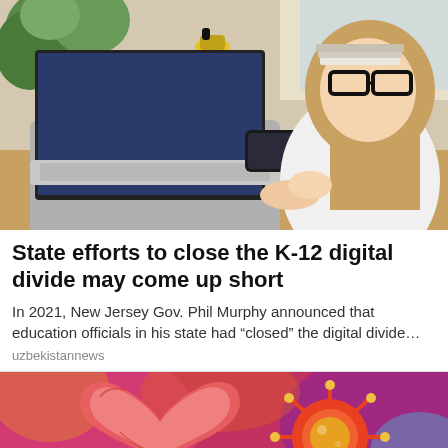[Figure (photo): Young woman with glasses and tattoos working on a laptop at a desk with plants and a yellow water bottle in the background]
State efforts to close the K-12 digital divide may come up short
In 2021, New Jersey Gov. Phil Murphy announced that education officials in his state had “closed” the digital divide…
uzbekistannews
[Figure (illustration): Colorful illustration showing a human heart anatomical model alongside a coronavirus particle on a vibrant red/purple background]